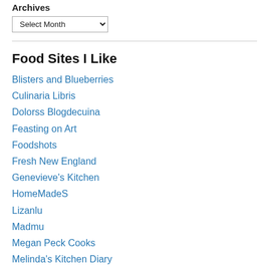Archives
Select Month
Food Sites I Like
Blisters and Blueberries
Culinaria Libris
Dolorss Blogdecuina
Feasting on Art
Foodshots
Fresh New England
Genevieve's Kitchen
HomeMadeS
Lizanlu
Madmu
Megan Peck Cooks
Melinda's Kitchen Diary
Pangaweka
Pastry Pal